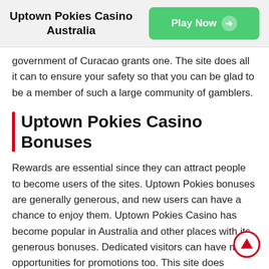Uptown Pokies Casino Australia
government of Curacao grants one. The site does all it can to ensure your safety so that you can be glad to be a member of such a large community of gamblers.
Uptown Pokies Casino Bonuses
Rewards are essential since they can attract people to become users of the sites. Uptown Pokies bonuses are generally generous, and new users can have a chance to enjoy them. Uptown Pokies Casino has become popular in Australia and other places with its generous bonuses. Dedicated visitors can have many opportunities for promotions too. This site does respect its new and past clients, especially loyal ones.